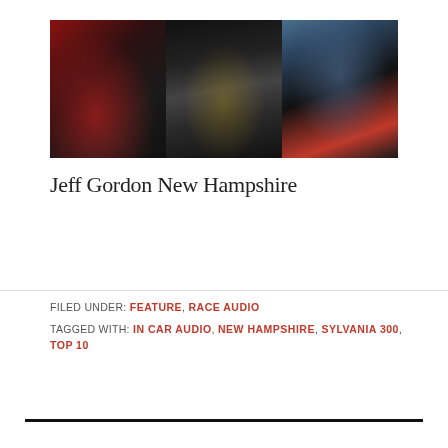[Figure (photo): Three NASCAR racing photos side by side: left shows pit crew working on a race car, center shows car number 24 on the track, right shows a driver portrait against cloudy sky]
Jeff Gordon New Hampshire
FILED UNDER: FEATURE, RACE AUDIO
TAGGED WITH: IN CAR AUDIO, NEW HAMPSHIRE, SYLVANIA 300, TOP 10